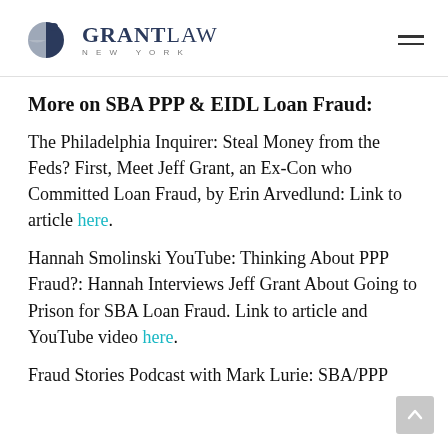[Figure (logo): Grant Law New York logo with circular pie-chart style icon in navy and gray, and text GRANTLAW NEW YORK]
More on SBA PPP & EIDL Loan Fraud:
The Philadelphia Inquirer: Steal Money from the Feds? First, Meet Jeff Grant, an Ex-Con who Committed Loan Fraud, by Erin Arvedlund: Link to article here.
Hannah Smolinski YouTube: Thinking About PPP Fraud?: Hannah Interviews Jeff Grant About Going to Prison for SBA Loan Fraud. Link to article and YouTube video here.
Fraud Stories Podcast with Mark Lurie: SBA/PPP